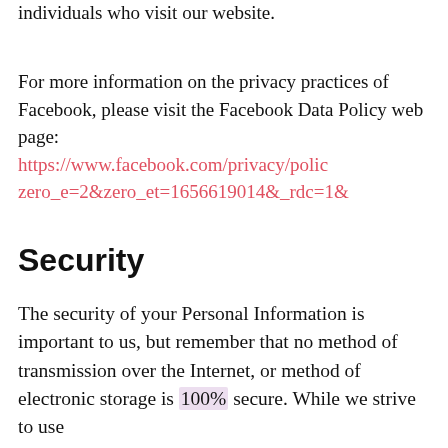individuals who visit our website.
For more information on the privacy practices of Facebook, please visit the Facebook Data Policy web page: https://www.facebook.com/privacy/policy zero_e=2&zero_et=1656619014&_rdc=1&
Security
The security of your Personal Information is important to us, but remember that no method of transmission over the Internet, or method of electronic storage is 100% secure. While we strive to use